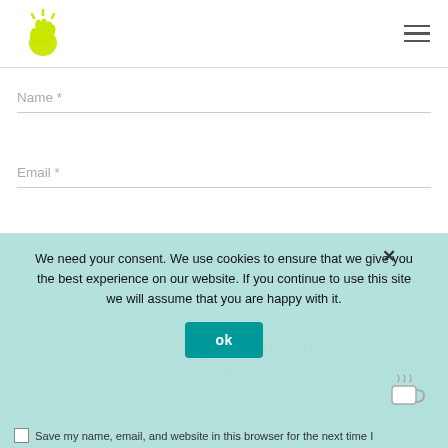[Figure (logo): Yellow-green hand/wave logo icon]
Name *
Email *
Website
What's on your mind?
We need your consent. We use cookies to ensure that we give you the best experience on our website. If you continue to use this site we will assume that you are happy with it.
ok
Save my name, email, and website in this browser for the next time I